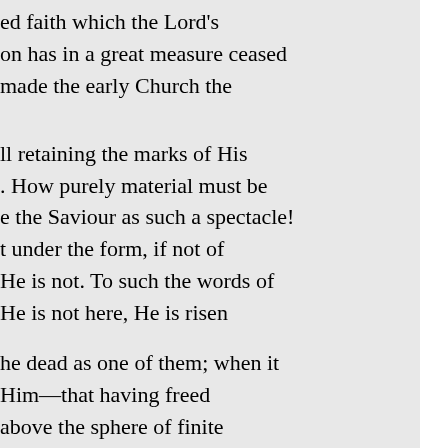ed faith which the Lord's on has in a great measure ceased made the early Church the
ll retaining the marks of His . How purely material must be e the Saviour as such a spectacle! t under the form, if not of He is not. To such the words of He is not here, He is risen
he dead as one of them; when it Him—that having freed above the sphere of finite l in all future time see Jesus as d known Him, as the evermore
xperience the states through Jesus as the Messiah to the final ign of an eternal kingdom of
he Lord and His ndeed, all faith is